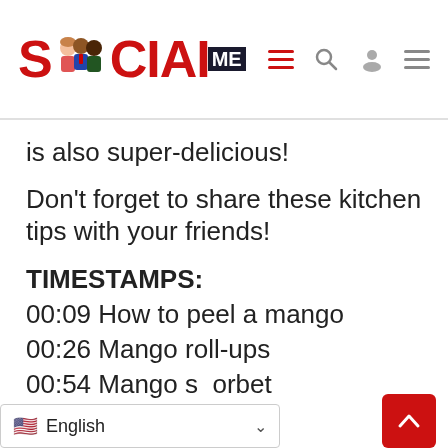[Figure (logo): SocialMe logo with cartoon figures and navigation icons (hamburger menu, search, user, hamburger menu)]
is also super-delicious!
Don't forget to share these kitchen tips with your friends!
TIMESTAMPS:
00:09 How to peel a mango
00:26 Mango roll-ups
00:54 Mango sorbet